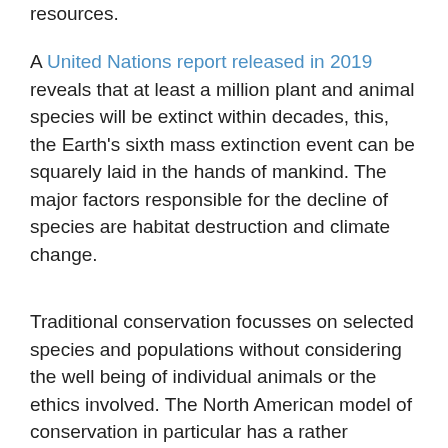resources.
A United Nations report released in 2019 reveals that at least a million plant and animal species will be extinct within decades, this, the Earth’s sixth mass extinction event can be squarely laid in the hands of mankind. The major factors responsible for the decline of species are habitat destruction and climate change.
Traditional conservation focusses on selected species and populations without considering the well being of individual animals or the ethics involved. The North American model of conservation in particular has a rather egregious track record of the mass killing of one species to preserve another species which is considered to be of greater value to humans. For example, the BC wolf cull, the killing of seals and birds accused of diminishing fish stocks, and the controversial goose cull in Denver CO, to